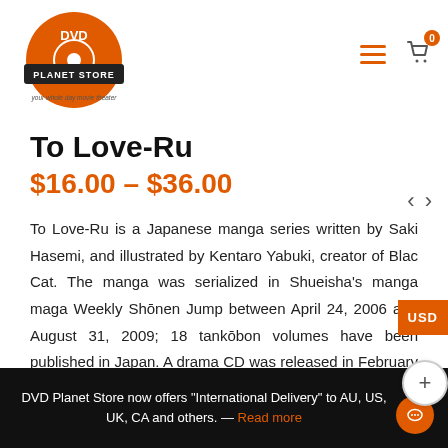[Figure (logo): DVD Planet Store logo — orange disc with DVD text and planet/store branding, with tagline 'your whole day movie theater']
To Love-Ru
$16.00 – $36.00
To Love-Ru is a Japanese manga series written by Saki Hasemi, and illustrated by Kentaro Yabuki, creator of Black Cat. The manga was serialized in Shueisha's manga magazine Weekly Shōnen Jump between April 24, 2006 and August 31, 2009; 18 tankōbon volumes have been published in Japan. A drama CD was released in February 2008 with an original story. A 26-episode anime series adaptation by Xebec aired in Japan between April and September 2008. Six original video
DVD Planet Store now offers "International Delivery" to AU, US, UK, CA and others. — Read more